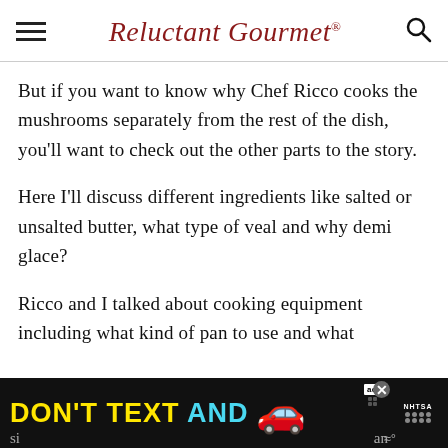Reluctant Gourmet
But if you want to know why Chef Ricco cooks the mushrooms separately from the rest of the dish, you'll want to check out the other parts to the story.
Here I'll discuss different ingredients like salted or unsalted butter, what type of veal and why demi glace?
Ricco and I talked about cooking equipment including what kind of pan to use and what si...
[Figure (other): Advertisement banner: DON'T TEXT AND [car emoji] with NHTSA branding and ad badge]